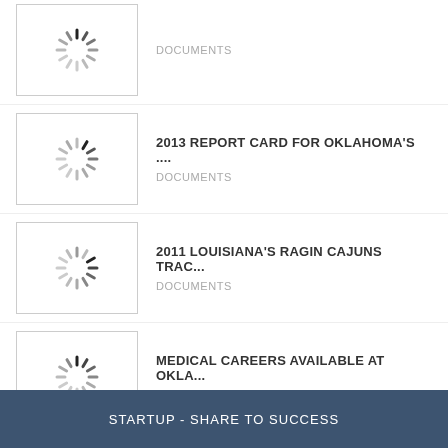DOCUMENTS
2013 REPORT CARD FOR OKLAHOMA'S .... DOCUMENTS
2011 LOUISIANA'S RAGIN CAJUNS TRAC... DOCUMENTS
MEDICAL CAREERS AVAILABLE AT OKLA... HEALTH & MEDICINE
View More
STARTUP - SHARE TO SUCCESS